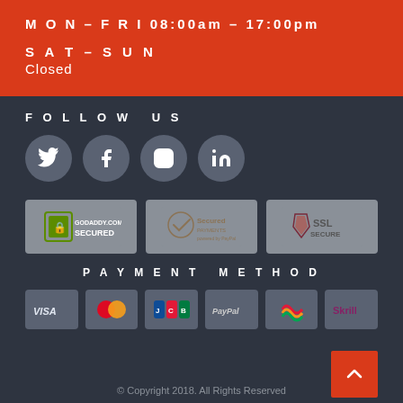MON-FRI 08:00am - 17:00pm
SAT-SUN
Closed
FOLLOW US
[Figure (infographic): Social media icons: Twitter, Facebook, Instagram, LinkedIn in circular grey buttons]
[Figure (infographic): Three security badges: GoDaddy SSL Secured, Secured Payments powered by PayPal, SSL Secure]
PAYMENT METHOD
[Figure (infographic): Payment method logos: Visa, MasterCard, JCB, PayPal, unknown, Skrill]
© Copyright 2018. All Rights Reserved